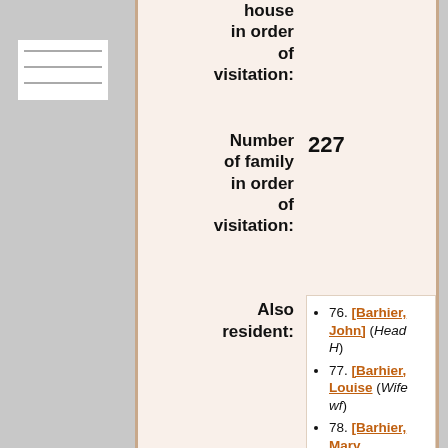house in order of visitation:
Number of family in order of visitation: 227
Also resident:
76. [Barhier, John] (Head H)
77. [Barhier, Louise (Wife wf)
78. [Barhier, Mary (Daughter)
79. Bazio, Frank (Roomer)
80. [Giocomini, Ahpon] (Roomer)